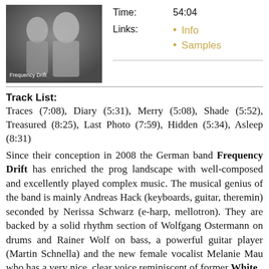[Figure (photo): Black and white album cover showing two young girls, with text 'Frequency Drift' overlaid at bottom left]
Time: 54:04
Info
Samples
Track List:
Traces (7:08), Diary (5:31), Merry (5:08), Shade (5:52), Treasured (8:25), Last Photo (7:59), Hidden (5:34), Asleep (8:31)
Since their conception in 2008 the German band Frequency Drift has enriched the prog landscape with well-composed and excellently played complex music. The musical genius of the band is mainly Andreas Hack (keyboards, guitar, theremin) seconded by Nerissa Schwarz (e-harp, mellotron). They are backed by a solid rhythm section of Wolfgang Ostermann on drums and Rainer Wolf on bass, a powerful guitar player (Martin Schnella) and the new female vocalist Melanie Mau who has a very nice, clear voice reminiscent of former White